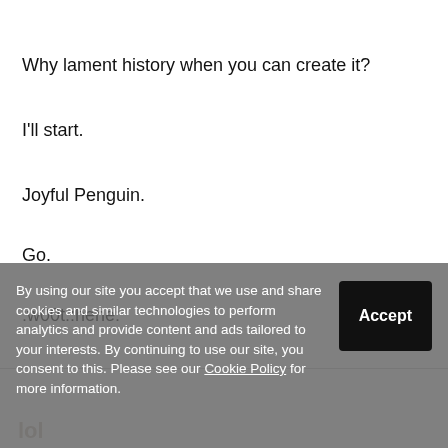Why lament history when you can create it?
I'll start.
Joyful Penguin.
Go.
:w00t::hehe:
By using our site you accept that we use and share cookies and similar technologies to perform analytics and provide content and ads tailored to your interests. By continuing to use our site, you consent to this. Please see our Cookie Policy for more information.
lol